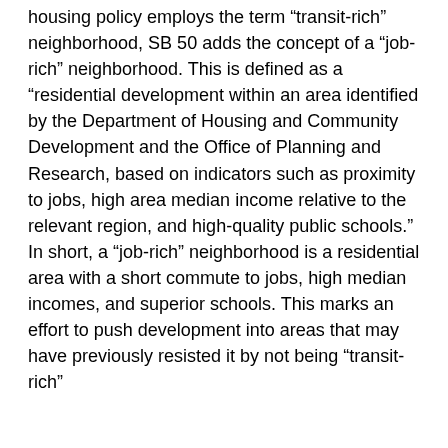housing policy employs the term “transit-rich” neighborhood, SB 50 adds the concept of a “job-rich” neighborhood. This is defined as a “residential development within an area identified by the Department of Housing and Community Development and the Office of Planning and Research, based on indicators such as proximity to jobs, high area median income relative to the relevant region, and high-quality public schools.” In short, a “job-rich” neighborhood is a residential area with a short commute to jobs, high median incomes, and superior schools. This marks an effort to push development into areas that may have previously resisted it by not being “transit-rich”